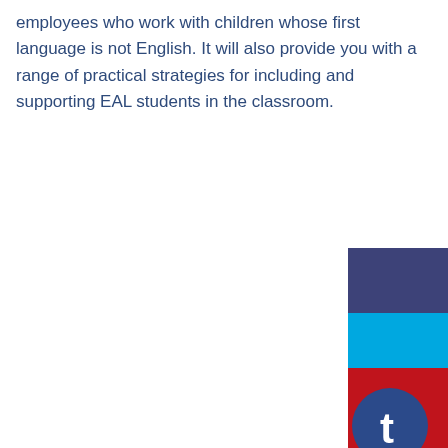employees who work with children whose first language is not English. It will also provide you with a range of practical strategies for including and supporting EAL students in the classroom.
[Figure (illustration): Decorative colored blocks and circular logo in bottom-right corner: a dark navy/purple rectangle, a cyan/blue rectangle, a red rectangle, and a dark blue circle with a white 't' letter icon.]